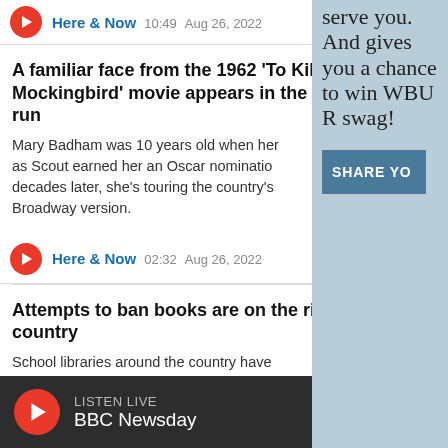Here & Now  10:49  Aug 26, 2022
A familiar face from the 1962 'To Kill A Mockingbird' movie appears in the show's run
Mary Badham was 10 years old when her role as Scout earned her an Oscar nomination. decades later, she's touring the country's Broadway version.
Here & Now  02:32  Aug 26, 2022
Attempts to ban books are on the rise across the country
School libraries around the country have come under attack by conservative groups who want
serve you. And gives you a chance to win WBUR swag!
[Figure (other): SHARE YO button (blue button, partially visible)]
LISTEN LIVE  BBC Newsday